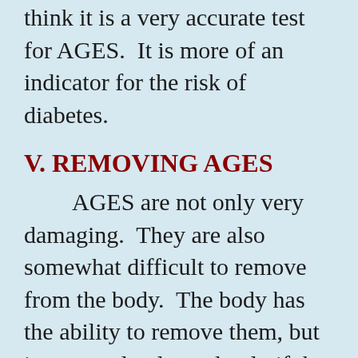think it is a very accurate test for AGES.  It is more of an indicator for the risk of diabetes.
V. REMOVING AGES
AGES are not only very damaging.  They are also somewhat difficult to remove from the body.  The body has the ability to remove them, but it occurs slowly, and only if the body is well-nourished and more yang.  Removing AGES and removing the “Amigos” are among the